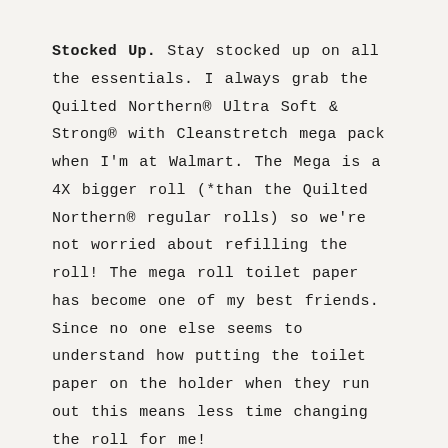Stocked Up. Stay stocked up on all the essentials. I always grab the Quilted Northern® Ultra Soft & Strong® with Cleanstretch mega pack when I'm at Walmart. The Mega is a 4X bigger roll (*than the Quilted Northern® regular rolls) so we're not worried about refilling the roll! The mega roll toilet paper has become one of my best friends. Since no one else seems to understand how putting the toilet paper on the holder when they run out this means less time changing the roll for me!